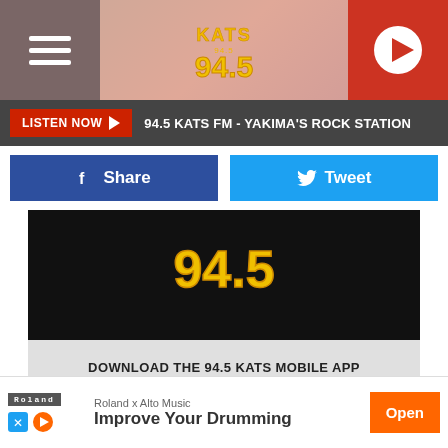[Figure (screenshot): KATS 94.5 FM radio station website header with hamburger menu, logo, and play button]
LISTEN NOW ▶  94.5 KATS FM - YAKIMA'S ROCK STATION
f Share
Tweet
[Figure (logo): 94.5 KATS FM logo on black background]
DOWNLOAD THE 94.5 KATS MOBILE APP
GET OUR FREE MOBILE APP
Roland x Alto Music  Improve Your Drumming  Open